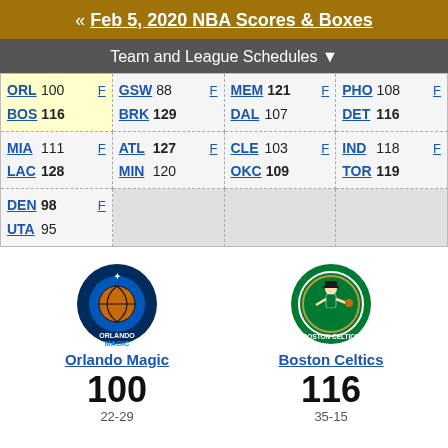« Feb 5, 2020 NBA Scores & Boxes
Team and League Schedules ▼
| ORL 100 F / BOS 116 | GSW 88 F / BRK 129 | MEM 121 F / DAL 107 | PHO 108 F / DET 116 |
| MIA 111 F / LAC 128 | ATL 127 F / MIN 120 | CLE 103 F / OKC 109 | IND 118 F / TOR 119 |
| DEN 98 F / UTA 95 |  |  |  |
[Figure (logo): Orlando Magic team logo]
Orlando Magic
100
22-29
[Figure (logo): Boston Celtics team logo]
Boston Celtics
116
35-15